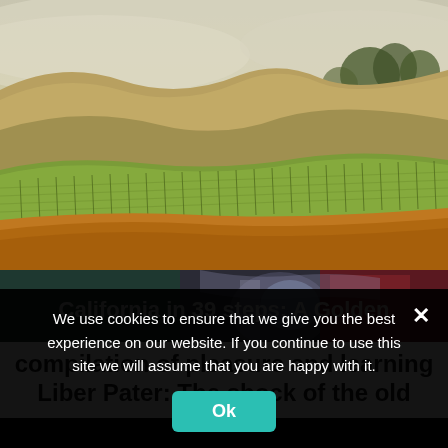[Figure (photo): Aerial view of rolling golden hills with vineyard rows in foreground, misty trees in background under foggy sky]
[Figure (photo): Dark strip image with partial view of people or objects, semi-transparent with text overlay reading 'California in 39 steps: A Golden']
California in 39 steps: A Golden compilation of pleasure and learning
Liber Pater: The shock of the old
We use cookies to ensure that we give you the best experience on our website. If you continue to use this site we will assume that you are happy with it.